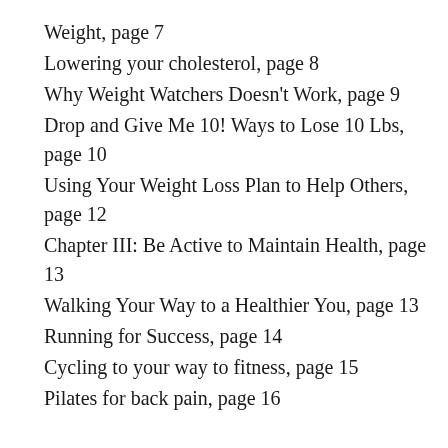Weight, page 7
Lowering your cholesterol, page 8
Why Weight Watchers Doesn't Work, page 9
Drop and Give Me 10! Ways to Lose 10 Lbs, page 10
Using Your Weight Loss Plan to Help Others, page 12
Chapter III: Be Active to Maintain Health, page 13
Walking Your Way to a Healthier You, page 13
Running for Success, page 14
Cycling to your way to fitness, page 15
Pilates for back pain, page 16